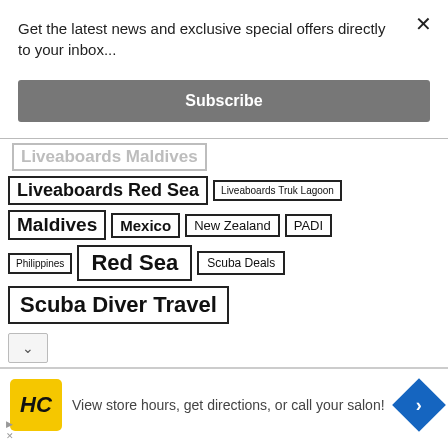Get the latest news and exclusive special offers directly to your inbox...
Subscribe
Liveaboards Maldives (partial, cropped)
Liveaboards Red Sea
Liveaboards Truk Lagoon
Maldives
Mexico
New Zealand
PADI
Philippines
Red Sea
Scuba Deals
Scuba Diver Travel
View store hours, get directions, or call your salon!